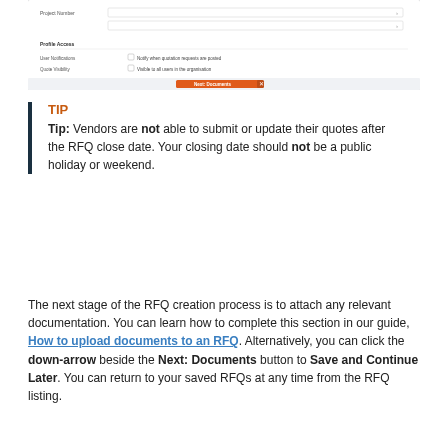[Figure (screenshot): Screenshot of a form UI with fields, checkboxes, and an orange 'Next: Documents' button at the bottom]
TIP
Tip: Vendors are not able to submit or update their quotes after the RFQ close date. Your closing date should not be a public holiday or weekend.
The next stage of the RFQ creation process is to attach any relevant documentation. You can learn how to complete this section in our guide, How to upload documents to an RFQ. Alternatively, you can click the down-arrow beside the Next: Documents button to Save and Continue Later. You can return to your saved RFQs at any time from the RFQ listing.